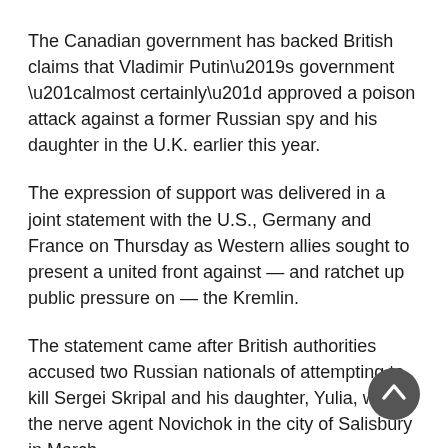The Canadian government has backed British claims that Vladimir Putin’s government “almost certainly” approved a poison attack against a former Russian spy and his daughter in the U.K. earlier this year.
The expression of support was delivered in a joint statement with the U.S., Germany and France on Thursday as Western allies sought to present a united front against — and ratchet up public pressure on — the Kremlin.
The statement came after British authorities accused two Russian nationals of attempting to kill Sergei Skripal and his daughter, Yulia, with the nerve agent Novichok in the city of Salisbury in March.